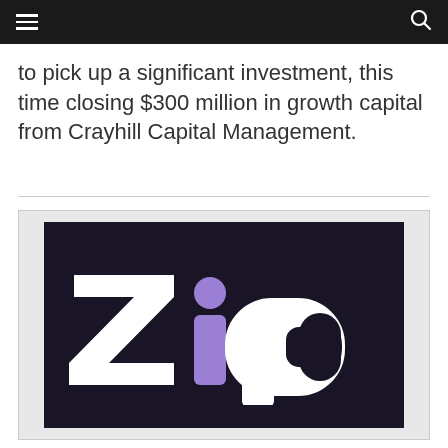to pick up a significant investment, this time closing $300 million in growth capital from Crayhill Capital Management.
[Figure (logo): Zip company logo in white and purple lettering on a dark navy/purple background]